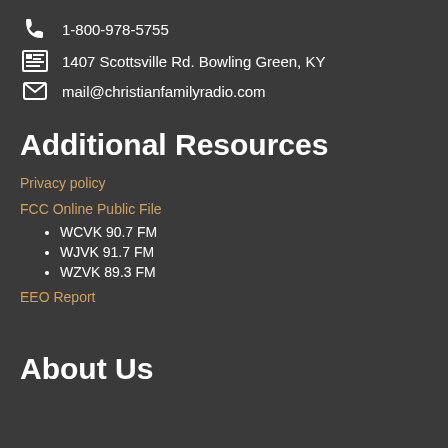1-800-978-5755
1407 Scottsville Rd. Bowling Green, KY
mail@christianfamilyradio.com
Additional Resources
Privacy policy
FCC Online Public File
WCVK 90.7 FM
WJVK 91.7 FM
WZVK 89.3 FM
EEO Report
About Us